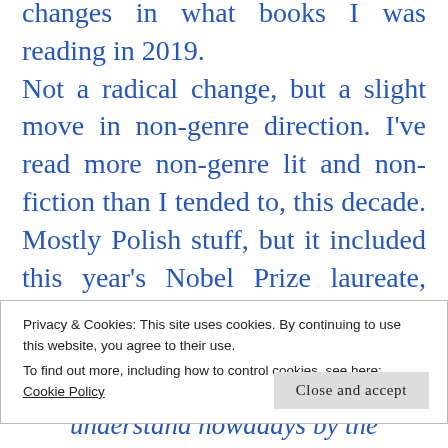changes in what books I was reading in 2019. Not a radical change, but a slight move in non-genre direction. I've read more non-genre lit and non-fiction than I tended to, this decade. Mostly Polish stuff, but it included this year's Nobel Prize laureate, Olga Tokarczuk. Highly recommended, and there's even a movie. Her Nobel Lecture is powerful, and beautiful, audio and text available here. Just one quote, but she touches many topics in a very interesting
Privacy & Cookies: This site uses cookies. By continuing to use this website, you agree to their use.
To find out more, including how to control cookies, see here: Cookie Policy
understand nowadays by the